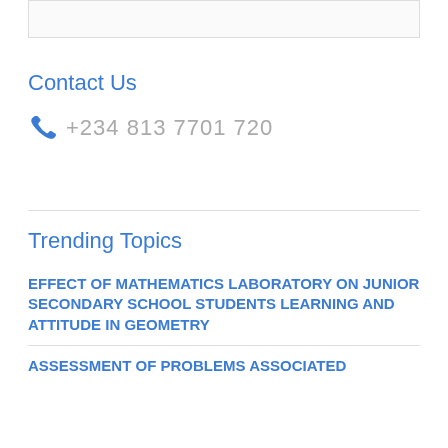Contact Us
+234 813 7701 720
Trending Topics
EFFECT OF MATHEMATICS LABORATORY ON JUNIOR SECONDARY SCHOOL STUDENTS LEARNING AND ATTITUDE IN GEOMETRY
ASSESSMENT OF PROBLEMS ASSOCIATED